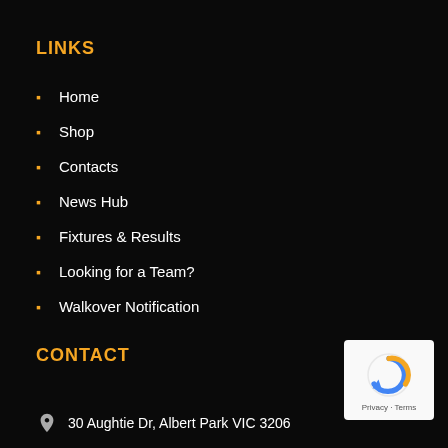LINKS
Home
Shop
Contacts
News Hub
Fixtures & Results
Looking for a Team?
Walkover Notification
CONTACT
30 Aughtie Dr, Albert Park VIC 3206
[Figure (logo): Google reCAPTCHA badge with recycle-arrow icon, Privacy and Terms links]